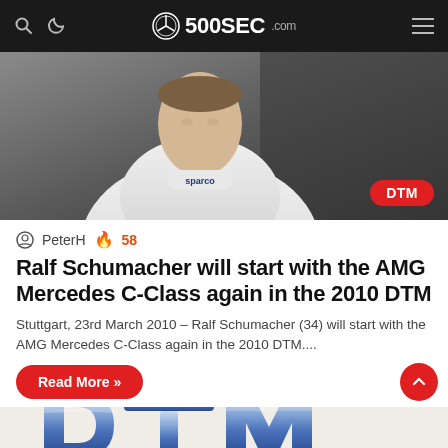500SEC.com
[Figure (photo): Racing driver in white Sparco suit, close-up portrait, dark background, with red DTM badge overlay in bottom right corner]
PeterH  58
Ralf Schumacher will start with the AMG Mercedes C-Class again in the 2010 DTM
Stuttgart, 23rd March 2010 – Ralf Schumacher (34) will start with the AMG Mercedes C-Class again in the 2010 DTM....
Read More »
[Figure (logo): DTM logo in large metallic blue 3D letters on beige background]